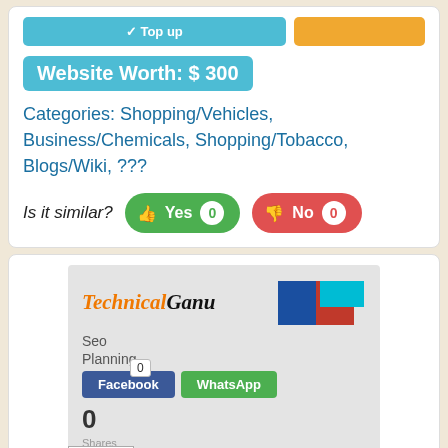Website Worth: $ 300
Categories: Shopping/Vehicles, Business/Chemicals, Shopping/Tobacco, Blogs/Wiki, ???
Is it similar? Yes 0  No 0
[Figure (screenshot): Screenshot of TechnicalGanu website showing logo, Seo, Planning sections, Facebook and WhatsApp share buttons, 0 shares, bullet list with Buisness, Jobs, Online items, Siteprice.org badge, and Scroll Top button]
Like 0